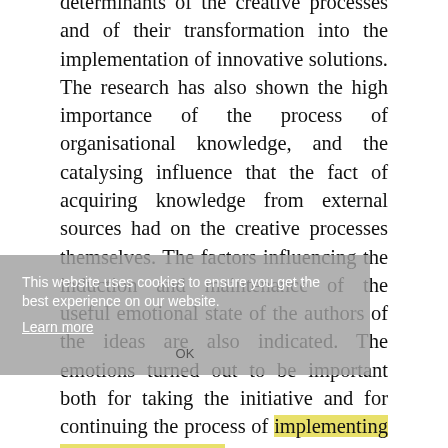determinants of the creative processes and of their transformation into the implementation of innovative solutions. The research has also shown the high importance of the process of organisational knowledge, and the catalysing influence that the fact of acquiring knowledge from external sources had on the creative processes themselves. The factors influencing the induction and maintenance of the useful emotional state of the authors of the ideas are also indicated. The emotions turned out to be important both for taking the initiative and for continuing the process of implementing the idea in practice. The research also showed the specific role that intrinsic and extrinsic motivation played in the initiation and implementation of the
This website uses cookies to ensure you get the best experience on our website. Learn more OK